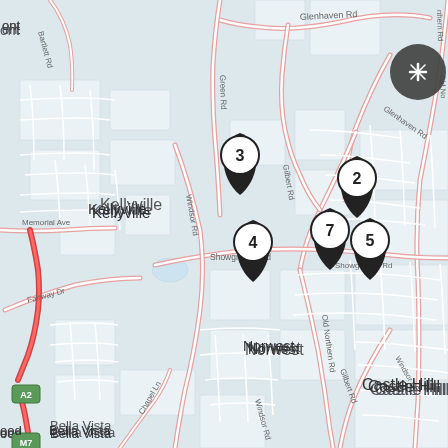[Figure (map): Street map of Castle Hill, Norwest, Kellyville, Glenhaven, and Bella Vista areas in Sydney, Australia. Shows major roads including Showground Rd, Windsor Rd, Green Rd, Gilbert Rd, Glenhaven Rd, Old Northern Rd. Map has 6 numbered pin markers: pin 3 near Showground Rd/Green Rd intersection, pin 4 in Norwest area, pin 2 in Castle Hill upper area, pin 7 in Castle Hill area, pin 5 in Castle Hill area. A dark compass/expand button is in the upper right corner. An A2 road marker is on the left side and M7 marker at the bottom left.]